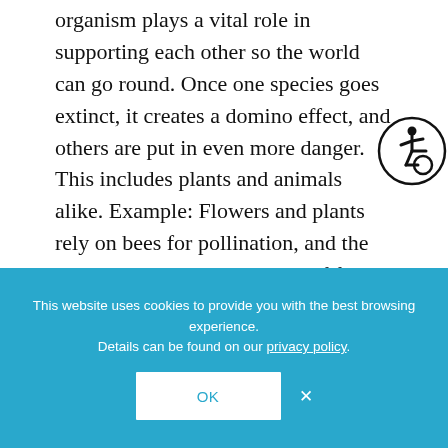organism plays a vital role in supporting each other so the world can go round. Once one species goes extinct, it creates a domino effect, and others are put in even more danger. This includes plants and animals alike. Example: Flowers and plants rely on bees for pollination, and the plants then serve as a source of food for other animals. Without the bees, the flowers can't survive, and without the flower, the animals that eat them can't either. It creates a chain reaction. To do your part, heed local and national labels of endangered species. Don't hunt or hurt these animals.
[Figure (other): Accessibility icon (wheelchair user symbol) inside a circle, positioned top-right]
[Figure (other): Blue-bordered input or content box partially visible near bottom of main content area]
This website uses cookies to provide you with the best browsing experience. Details can be found on our privacy policy.